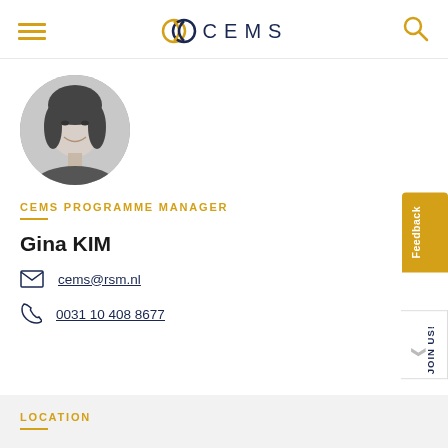CEMS
[Figure (photo): Black and white circular portrait photo of Gina KIM, a woman with shoulder-length dark hair, smiling]
CEMS PROGRAMME MANAGER
Gina KIM
cems@rsm.nl
0031 10 408 8677
LOCATION